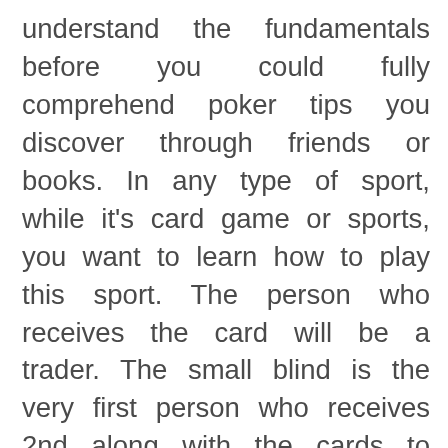understand the fundamentals before you could fully comprehend poker tips you discover through friends or books. In any type of sport, while it's card game or sports, you want to learn how to play this sport. The person who receives the card will be a trader. The small blind is the very first person who receives 2nd along with the cards to create a determination. Neighbourhood players that used poker obtained issues. Nobody understood Moneymaker when he showed up though he was gambling his whole life since he hadn't ever played with a live poker tournament.